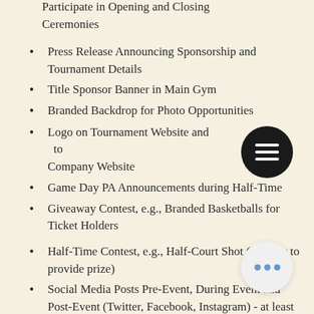Participate in Opening and Closing Ceremonies
Press Release Announcing Sponsorship and Tournament Details
Title Sponsor Banner in Main Gym
Branded Backdrop for Photo Opportunities
Logo on Tournament Website and to Company Website
Game Day PA Announcements during Half-Time
Giveaway Contest, e.g., Branded Basketballs for Ticket Holders
Half-Time Contest, e.g., Half-Court Shot (sponsor to provide prize)
Social Media Posts Pre-Event, During Event and Post-Event (Twitter, Facebook, Instagram) - at least 10 total
Full Page in Virtual Program Guide
20 Tournament T-Shirts
20 Tournament Tickets
VIP Reserved Seats for Staff and Families including Hospitality Baskets